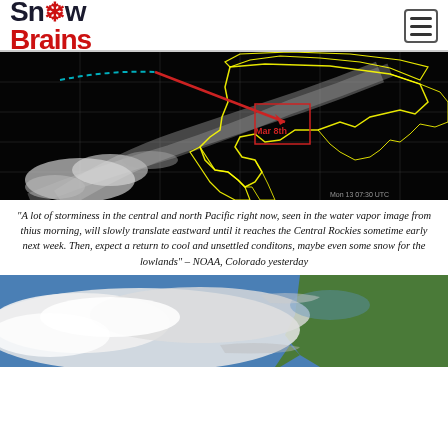SnowBrains
[Figure (map): Satellite water vapor image of the Pacific and North America with yellow country/state outlines, a red arrow pointing toward Central Rockies labeled 'Mar 8th', and a cyan dashed line arcing across the Pacific indicating storm track.]
“A lot of storminess in the central and north Pacific right now, seen in the water vapor image from thius morning, will slowly translate eastward until it reaches the Central Rockies sometime early next week. Then, expect a return to cool and unsettled conditons, maybe even some snow for the lowlands” – NOAA, Colorado yesterday
[Figure (photo): Satellite visible image showing cloud cover over the Pacific Ocean and western United States coastline, with white cloud formations against blue ocean and green land areas.]